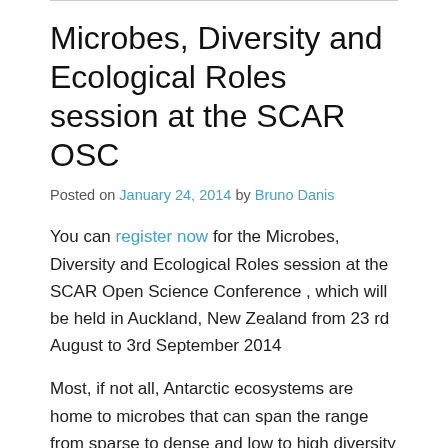Microbes, Diversity and Ecological Roles session at the SCAR OSC
Posted on January 24, 2014 by Bruno Danis
You can register now for the Microbes, Diversity and Ecological Roles session at the SCAR Open Science Conference , which will be held in Auckland, New Zealand from 23 rd August to 3rd September 2014
Most, if not all, Antarctic ecosystems are home to microbes that can span the range from sparse to dense and low to high diversity assemblages. These organisms o<en harbor specialized capabilities to withstand the environmental extremes that the high latitudes of the Antarctic pose. This session welcomes contributions to